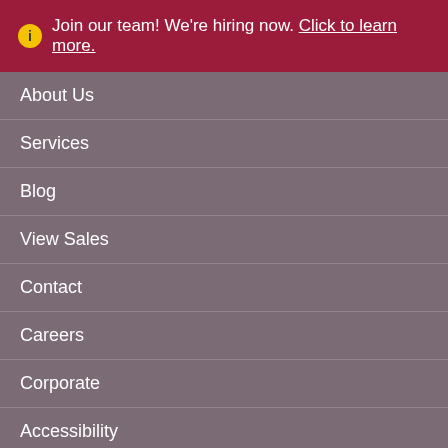ℹ Join our team! We're hiring now. Click to learn more.
About Us
Services
Blog
View Sales
Contact
Careers
Corporate
Accessibility
Privacy Policy
619-372-8255